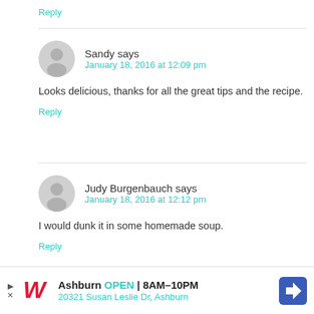Reply
Sandy says
January 18, 2016 at 12:09 pm
Looks delicious, thanks for all the great tips and the recipe.
Reply
Judy Burgenbauch says
January 18, 2016 at 12:12 pm
I would dunk it in some homemade soup.
Reply
[Figure (infographic): Walgreens advertisement banner: Ashburn OPEN 8AM-10PM, 20321 Susan Leslie Dr, Ashburn, with Walgreens logo and map arrow icon]